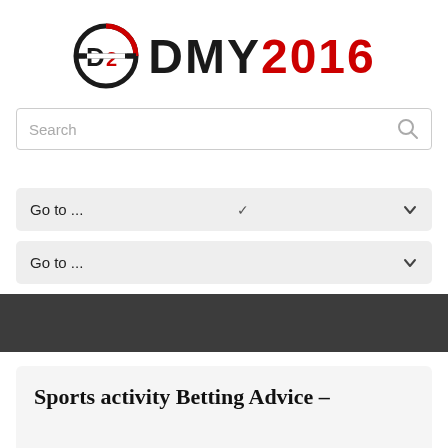[Figure (logo): DMY 2016 logo with circular D2 icon in black and red, followed by text DMY in black and 2016 in red]
Search
Go to ...
Go to ...
Sports activity Betting Advice – Precisely what Anyone Need to